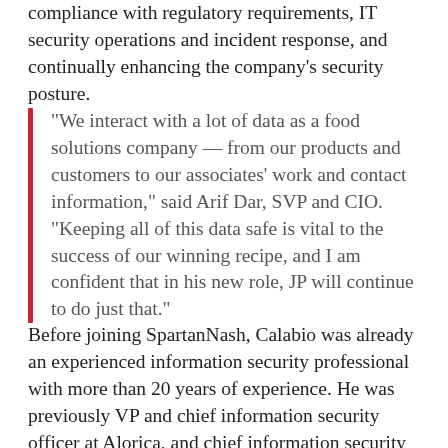compliance with regulatory requirements, IT security operations and incident response, and continually enhancing the company's security posture.
“We interact with a lot of data as a food solutions company — from our products and customers to our associates’ work and contact information,” said Arif Dar, SVP and CIO. “Keeping all of this data safe is vital to the success of our winning recipe, and I am confident that in his new role, JP will continue to do just that.”
Before joining SpartanNash, Calabio was already an experienced information security professional with more than 20 years of experience. He was previously VP and chief information security officer at Alorica, and chief information security officer at SC Johnson and Maple Leaf Foods Inc. where he had similar